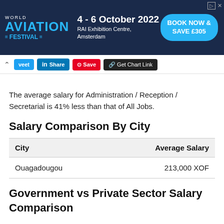[Figure (other): World Aviation Festival advertisement banner. Text: 4 - 6 October 2022, RAI Exhibition Centre, Amsterdam. Book Now & Save £305.]
[Figure (screenshot): Social sharing toolbar with tweet, LinkedIn Share, Save, and Get Chart Link buttons.]
The average salary for Administration / Reception / Secretarial is 41% less than that of All Jobs.
Salary Comparison By City
| City | Average Salary |
| --- | --- |
| Ouagadougou | 213,000 XOF |
Government vs Private Sector Salary Comparison